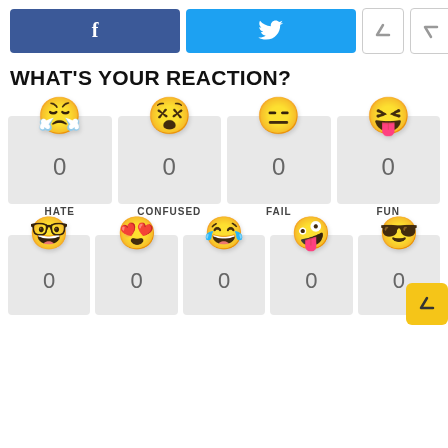[Figure (infographic): Social share buttons: Facebook (blue) and Twitter (light blue), plus up/down navigation arrow buttons]
WHAT'S YOUR REACTION?
[Figure (infographic): Reaction widget with 4 emoji buttons (HATE, CONFUSED, FAIL, FUN) each showing count 0, and 5 more emoji buttons in a second row each showing count 0, with a yellow scroll-to-top button in corner]